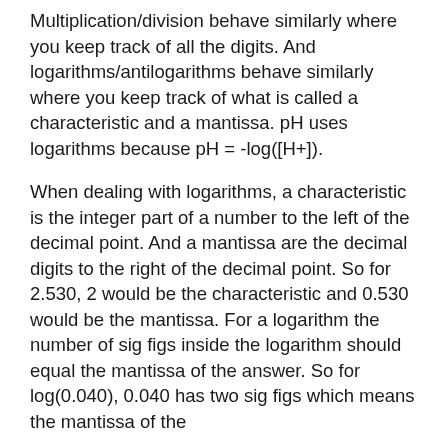Multiplication/division behave similarly where you keep track of all the digits. And logarithms/antilogarithms behave similarly where you keep track of what is called a characteristic and a mantissa. pH uses logarithms because pH = -log([H+]).
When dealing with logarithms, a characteristic is the integer part of a number to the left of the decimal point. And a mantissa are the decimal digits to the right of the decimal point. So for 2.530, 2 would be the characteristic and 0.530 would be the mantissa. For a logarithm the number of sig figs inside the logarithm should equal the mantissa of the answer. So for log(0.040), 0.040 has two sig figs which means the mantissa of the